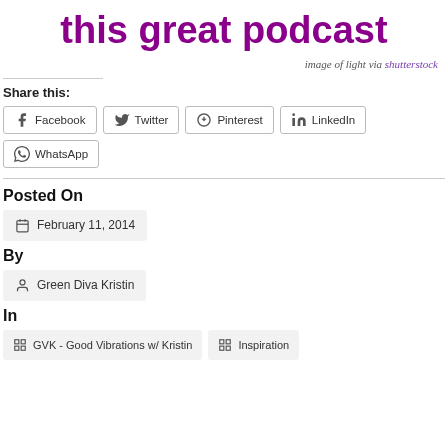this great podcast
image of light via shutterstock
Share this:
Facebook | Twitter | Pinterest | LinkedIn | WhatsApp
Posted On
February 11, 2014
By
Green Diva Kristin
In
GVK - Good Vibrations w/ Kristin | Inspiration